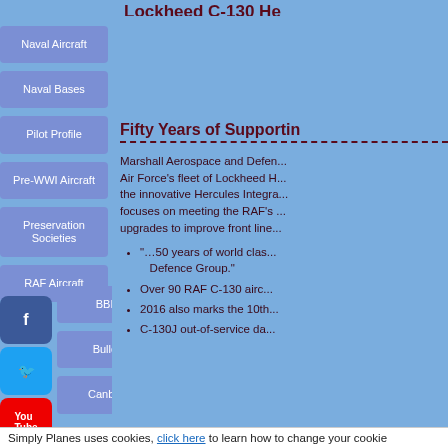Lockheed C-130 He...
Naval Aircraft
Naval Bases
Pilot Profile
Pre-WWI Aircraft
Preservation Societies
RAF Aircraft
BBMF
Bulldog
Canberra
Fifty Years of Supportin...
Marshall Aerospace and Defen... Air Force’s fleet of Lockheed H... the innovative Hercules Integra... focuses on meeting the RAF’s ... upgrades to improve front line...
“…50 years of world clas... Defence Group.”
Over 90 RAF C-130 airc...
2016 also marks the 10th...
C-130J out-of-service da...
Simply Planes uses cookies, click here to learn how to change your cookie